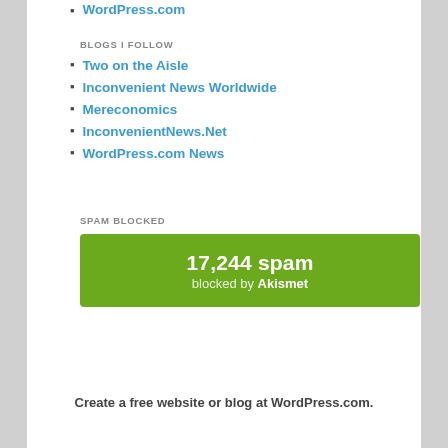WordPress.com (partial, top)
BLOGS I FOLLOW
Two on the Aisle
Inconvenient News Worldwide
Mereconomics
InconvenientNews.Net
WordPress.com News
SPAM BLOCKED
[Figure (infographic): Green Akismet spam blocked badge showing 17,244 spam blocked by Akismet]
Create a free website or blog at WordPress.com.